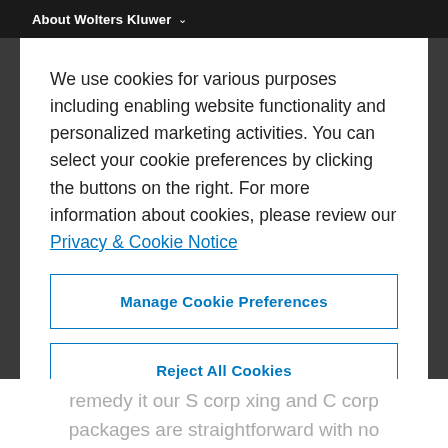About Wolters Kluwer
We use cookies for various purposes including enabling website functionality and personalized marketing activities. You can select your cookie preferences by clicking the buttons on the right. For more information about cookies, please review our Privacy & Cookie Notice
Manage Cookie Preferences
Reject All Cookies
Accept All Cookies
remedy it our S corp xing and C corp packages are straightforward with no